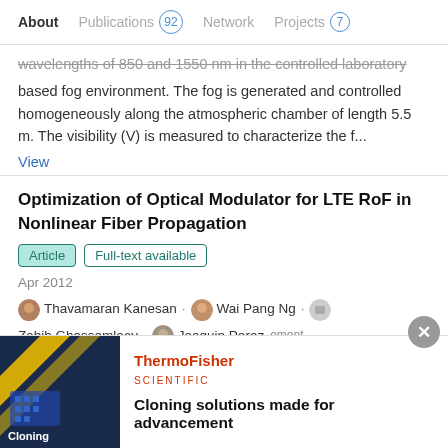About | Publications 92 | Network | Projects 7
wavelengths of 850 and 1550 nm in the controlled laboratory based fog environment. The fog is generated and controlled homogeneously along the atmospheric chamber of length 5.5 m. The visibility (V) is measured to characterize the f...
View
Optimization of Optical Modulator for LTE RoF in Nonlinear Fiber Propagation
Article | Full-text available
Apr 2012
Thavamaran Kanesan · Wai Pang Ng · Zabih Ghassemlooy · Joaquin Perez
[Figure (infographic): ThermoFisher Scientific advertisement banner with dark blue image showing cloning equipment and text 'Cloning solutions made for advancement']